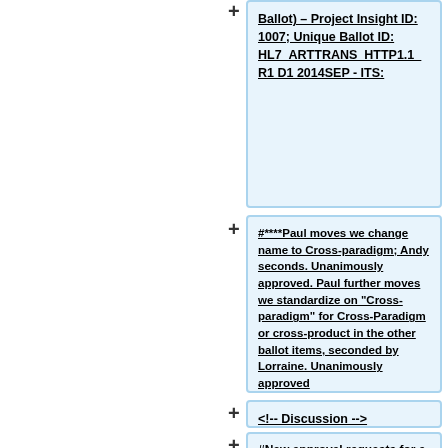Ballot) – Project Insight ID: 1007; Unique Ballot ID: HL7_ARTTRANS_HTTP1.1_R1_D1_2014SEP - ITS:
#****Paul moves we change name to Cross-paradigm; Andy seconds. Unanimously approved. Paul further moves we standardize on "Cross-paradigm" for Cross-Paradigm or cross-product in the other ballot items, seconded by Lorraine. Unanimously approved
<!-- Discussion -->
#New approval requests for e-vote: